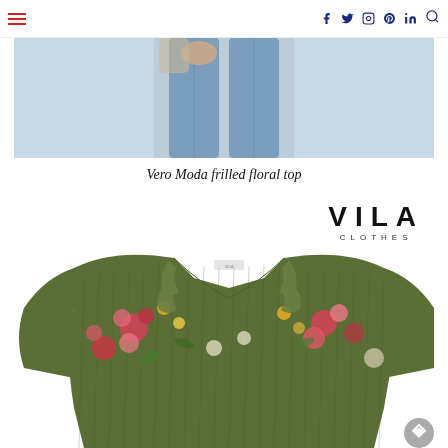Navigation bar with hamburger menu, social icons (Facebook, Twitter, Instagram, Pinterest, LinkedIn), and search icon
[Figure (photo): Cropped photo of a person wearing blue jeans, showing lower body from waist down, light grey/blue background]
Vero Moda frilled floral top
[Figure (photo): Vila Clothes brand logo and product photo of a green floral printed frilled long-sleeve top on white background]
[Figure (logo): VILA CLOTHES logo in bold black uppercase letters]